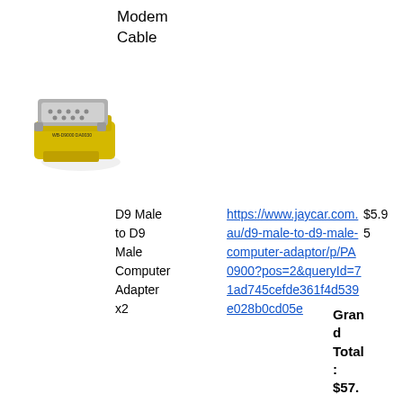Modem Cable
[Figure (photo): D9 Male to D9 Male Computer Adapter connector, yellow and silver, shown at an angle]
D9 Male to D9 Male Computer Adapter x2
https://www.jaycar.com.au/d9-male-to-d9-male-computer-adaptor/p/PA0900?pos=2&queryId=71ad745cefde361f4d539e028b0cd05e
$5.95
Grand Total: $57.